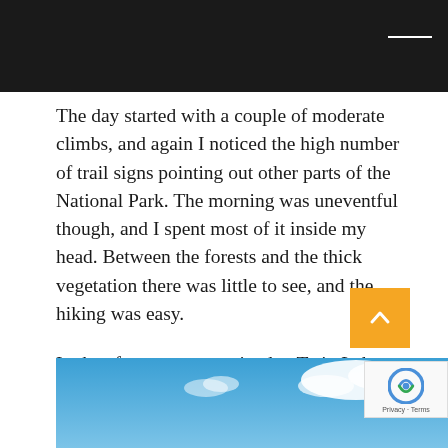The day started with a couple of moderate climbs, and again I noticed the high number of trail signs pointing out other parts of the National Park. The morning was uneventful though, and I spent most of it inside my head. Between the forests and the thick vegetation there was little to see, and the hiking was easy.
In the afternoon, we arrived at Twin Lakes, where the number of day hikers suddenly increased dramatically. The terrain was easy and the trail was flat or slightly downhill for a long while. I was glad to walk through a burn area, which made a change from the dense forest and allowed a clear view out to Lassen peak.
[Figure (photo): Partial view of a blue sky with white clouds, bottom portion of a landscape photo visible at the bottom of the page.]